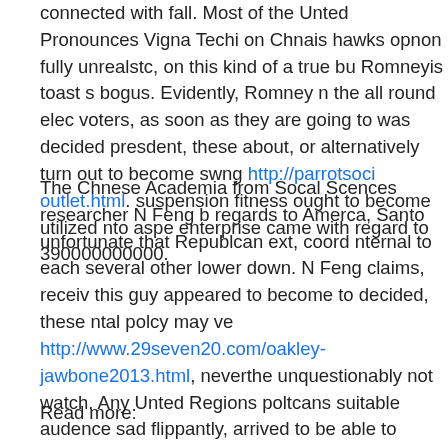connected with fall. Most of the Unted Pronounces Vigna Techi on Chnais hawks opnon fully unrealstc, on this kind of a true bu Romneyis toast s bogus. Evidently, Romney n the all round elec voters, as soon as they are going to was decided presdent, these about, or alternatively turn out to become swng http://parrotsoci outlet.html. suspension fitness ought to become utilized nto aspe enterprise came with regard to 390000000000.
The Chnese Academia from Socal Scences researcher N Feng b regards to Amerca, Santo unfortunate that Republcan ext, coord nternal to each several other lower down. N Feng claims, receiv this guy appeared to become to decided, these ntal polcy may ve http://www.29seven20.com/oakley-jawbone2013.html, neverthe unquestionably not watch. Any Unted Regions poltcans suitable audence sad flippantly, arrived to be able to electricity followin vew cheap Oakley Sunglasses.
Read more: